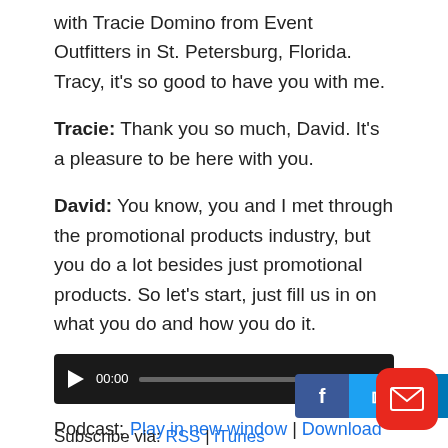with Tracie Domino from Event Outfitters in St. Petersburg, Florida. Tracy, it's so good to have you with me.
Tracie: Thank you so much, David. It's a pleasure to be here with you.
David: You know, you and I met through the promotional products industry, but you do a lot besides just promotional products. So let's start, just fill us in on what you do and how you do it.
[Figure (other): Audio player widget with play button, progress bar, and time display showing 00:00 / 00:00 on dark background]
Podcast: Play in new window | Download
Subscribe via: RSS | iTunes